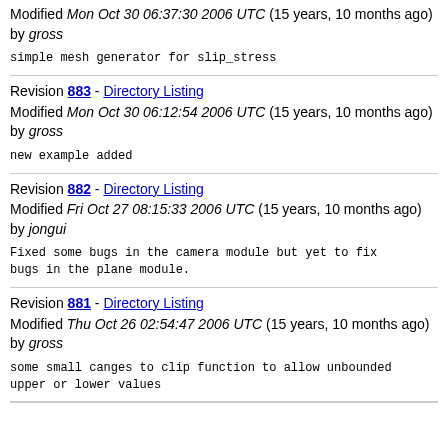Modified Mon Oct 30 06:37:30 2006 UTC (15 years, 10 months ago) by gross
simple mesh generator for slip_stress
Revision 883 - Directory Listing
Modified Mon Oct 30 06:12:54 2006 UTC (15 years, 10 months ago) by gross
new example added
Revision 882 - Directory Listing
Modified Fri Oct 27 08:15:33 2006 UTC (15 years, 10 months ago) by jongui
Fixed some bugs in the camera module but yet to fix bugs in the plane module.
Revision 881 - Directory Listing
Modified Thu Oct 26 02:54:47 2006 UTC (15 years, 10 months ago) by gross
some small canges to clip function to allow unbounded upper or lower values